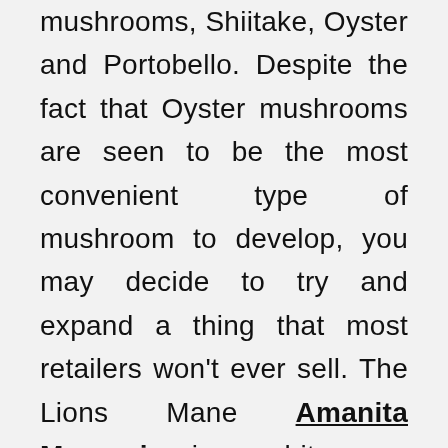mushrooms, Shiitake, Oyster and Portobello. Despite the fact that Oyster mushrooms are seen to be the most convenient type of mushroom to develop, you may decide to try and expand a thing that most retailers won't ever sell. The Lions Mane Amanita Muscaria is a bit more difficult to cultivate however features a style which can be very similar to those of lobster, in fact it is extremely expensive to purchase from consultant merchants.